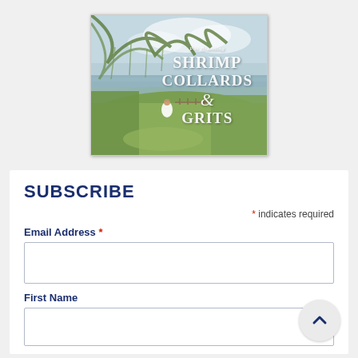[Figure (illustration): Book cover for 'Shrimp Collards & Grits' by Pat Branning. Painting of a woman in white dress standing in coastal marshland scene with Spanish moss hanging from trees, a dock, and water in background. Lush greens and soft watercolor style.]
SUBSCRIBE
* indicates required
Email Address *
First Name